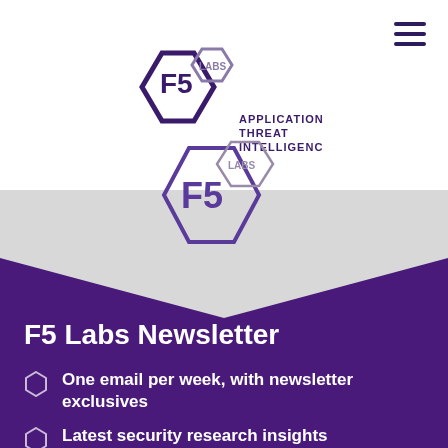[Figure (logo): F5 Labs Application Threat Intelligence logo in header]
[Figure (logo): F5 Labs hexagon logo centered between gray and purple sections]
F5 Labs Newsletter
One email per week, with newsletter exclusives
Latest security research insights
CISO-level expert analysis